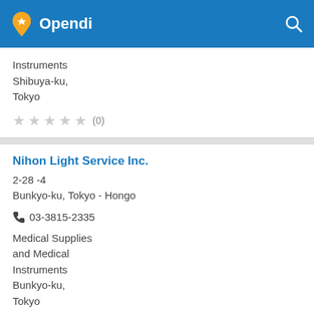Opendi
Instruments
Shibuya-ku,
Tokyo
★ ★ ★ ★ ★ (0)
Nihon Light Service Inc.
2-28 -4
Bunkyo-ku, Tokyo - Hongo
03-3815-2335
Medical Supplies and Medical Instruments
Bunkyo-ku,
Tokyo
★ ★ ★ ★ ★ (0)